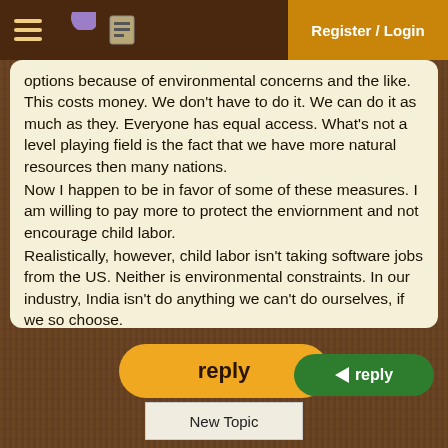Register / Login
options because of environmental concerns and the like. This costs money. We don't have to do it. We can do it as much as they. Everyone has equal access. What's not a level playing field is the fact that we have more natural resources then many nations.
Now I happen to be in favor of some of these measures. I am willing to pay more to protect the enviornment and not encourage child labor.
Realistically, however, child labor isn't taking software jobs from the US. Neither is environmental constraints. In our industry, India isn't do anything we can't do ourselves, if we so choose.
--Mark
reply
reply
New Topic